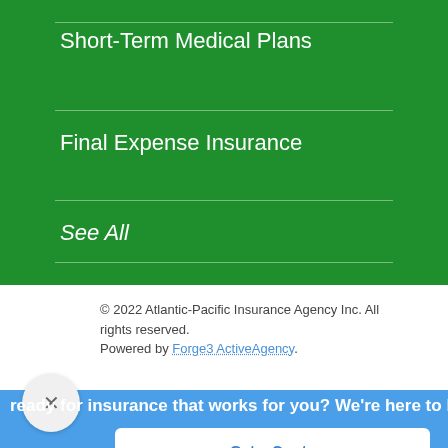Short-Term Medical Plans
Final Expense Insurance
See All
© 2022 Atlantic-Pacific Insurance Agency Inc. All rights reserved.
Powered by Forge3 ActiveAgency.
ready for insurance that works for you? We're here to h
Get a Quote
Contact Us